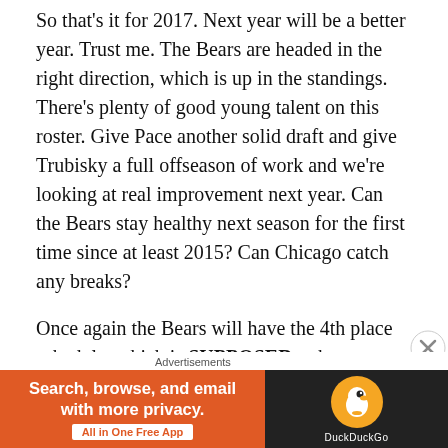So that's it for 2017. Next year will be a better year. Trust me. The Bears are headed in the right direction, which is up in the standings. There's plenty of good young talent on this roster. Give Pace another solid draft and give Trubisky a full offseason of work and we're looking at real improvement next year. Can the Bears stay healthy next season for the first time since at least 2015? Can Chicago catch any breaks?
Once again the Bears will have the 4th place schedule, which is SUPPOSED to be easy. Instead, our 4th place schedule this year turned out to be the HARDEST schedule in the league, according to opponent's winning percentage. I know! How typical of our luck. How typical
Advertisements
[Figure (other): DuckDuckGo advertisement banner: orange left panel with text 'Search, browse, and email with more privacy. All in One Free App' and dark right panel with DuckDuckGo logo and brand name.]